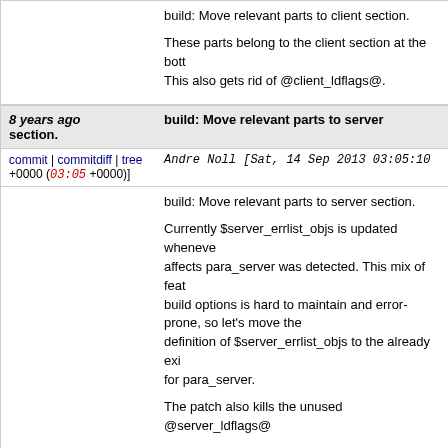build: Move relevant parts to client section.

These parts belong to the client section at the bottom. This also gets rid of @client_ldflags@.
8 years ago   build: Move relevant parts to server section.
commit | commitdiff | tree +0000 (03:05 +0000)]   Andre Noll [Sat, 14 Sep 2013 03:05:10 +0000 (03:05 +0000)]
build: Move relevant parts to server section.

Currently $server_errlist_objs is updated whenever a feature that affects para_server was detected. This mix of feature detection and build options is hard to maintain and error-prone, so let's move the definition of $server_errlist_objs to the already existing section for para_server.

The patch also kills the unused @server_ldflags@
8 years ago   build: Create section for para_audioc.
commit | commitdiff | tree +0000 (02:49 +0000)]   Andre Noll [Sat, 14 Sep 2013 02:49:43 +0000 (02:49 +0000)]
build: Create section for para_audioc.